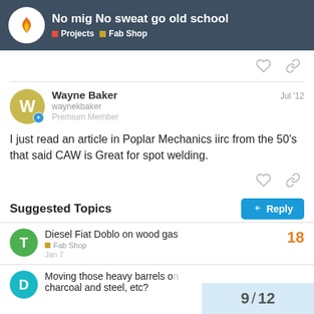No mig No sweat go old school — Projects | Fab Shop
Wayne Baker
waynekbaker
Premium Member
Jul '12
I just read an article in Poplar Mechanics iirc from the 50's that said CAW is Great for spot welding.
Suggested Topics
Diesel Fiat Doblo on wood gas
Fab Shop
18
Jan 7
Moving those heavy barrels o charcoal and steel, etc?